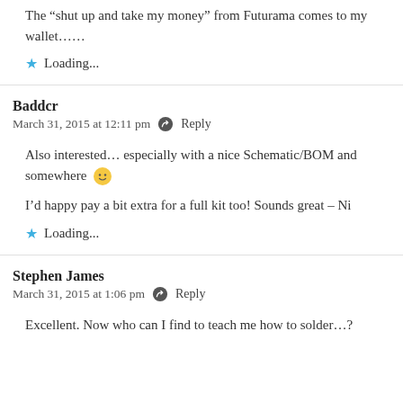The “shut up and take my money” from Futurama comes to my wallet……
★ Loading...
Baddcr
March 31, 2015 at 12:11 pm   Reply
Also interested… especially with a nice Schematic/BOM and somewhere 🙂
I’d happy pay a bit extra for a full kit too! Sounds great – Ni
★ Loading...
Stephen James
March 31, 2015 at 1:06 pm   Reply
Excellent. Now who can I find to teach me how to solder…?